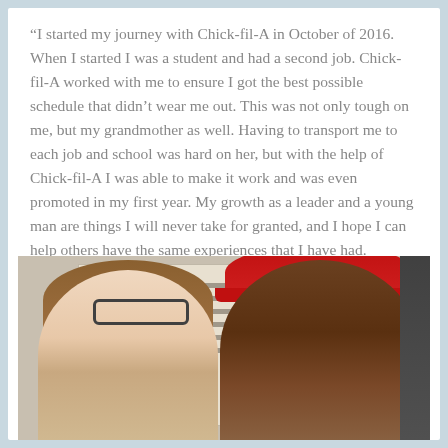“I started my journey with Chick-fil-A in October of 2016. When I started I was a student and had a second job. Chick-fil-A worked with me to ensure I got the best possible schedule that didn’t wear me out. This was not only tough on me, but my grandmother as well. Having to transport me to each job and school was hard on her, but with the help of Chick-fil-A I was able to make it work and was even promoted in my first year. My growth as a leader and a young man are things I will never take for granted, and I hope I can help others have the same experiences that I have had.
[Figure (photo): Two people smiling: a young woman with glasses and brown hair on the left, and a young man wearing a red Chick-fil-A visor cap on the right, standing in front of a bulletin board or display wall.]